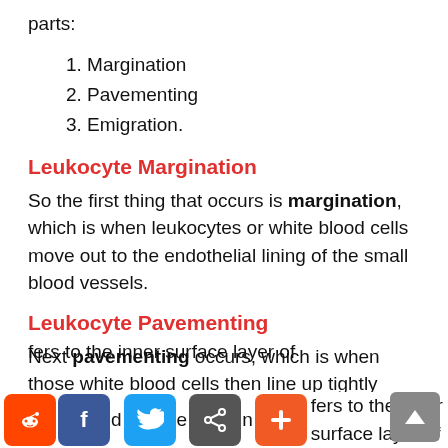parts:
1. Margination
2. Pavementing
3. Emigration.
Leukocyte Margination
So the first thing that occurs is margination, which is when leukocytes or white blood cells move out to the endothelial lining of the small blood vessels.
Leukocyte Pavementing
Next pavementing occurs, which is when those white blood cells then line up tightly packed along the blood vessel endothelium;
fers to the inner surface layer of